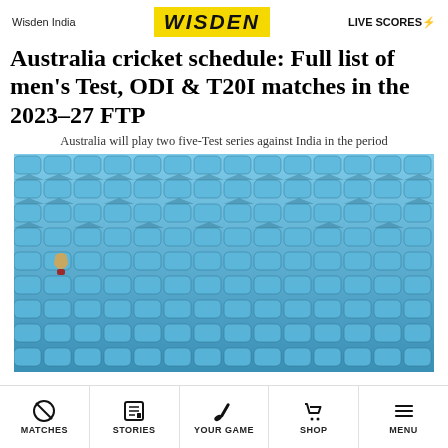Wisden India | WISDEN | LIVE SCORES ⚡
Australia cricket schedule: Full list of men's Test, ODI & T20I matches in the 2023–27 FTP
Australia will play two five-Test series against India in the period
[Figure (photo): Empty blue stadium seats with a single person sitting alone among the rows of vacant seats.]
MATCHES | STORIES | YOUR GAME | SHOP | MENU